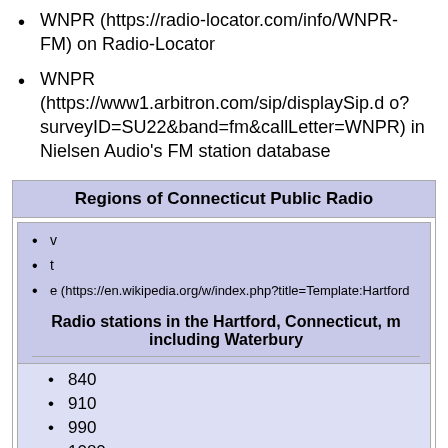WNPR (https://radio-locator.com/info/WNPR-FM) on Radio-Locator
WNPR (https://www1.arbitron.com/sip/displaySip.do?surveyID=SU22&band=fm&callLetter=WNPR) in Nielsen Audio's FM station database
| Regions of Connecticut Public Radio |
| --- |
| v | t | e (https://en.wikipedia.org/w/index.php?title=Template:Hartford...) | Radio stations in the Hartford, Connecticut, m including Waterbury |
| 840 | 910 | 990 | 1080 |